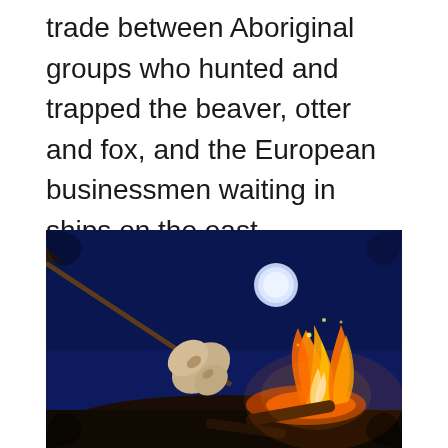trade between Aboriginal groups who hunted and trapped the beaver, otter and fox, and the European businessmen waiting in ships on the east coast, coureur des bois had to be hardy and resourceful. Businessmen yet survivalist.
[Figure (photo): Close-up photograph of a campfire with flames burning brightly, marshmallows or bread being roasted on a stick, set against a dark blue night sky background with a bright moon or light source visible.]